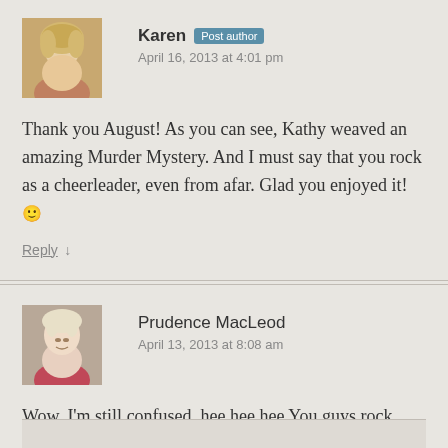Karen Post author
April 16, 2013 at 4:01 pm
Thank you August! As you can see, Kathy weaved an amazing Murder Mystery. And I must say that you rock as a cheerleader, even from afar. Glad you enjoyed it! 🙂
Reply ↓
Prudence MacLeod
April 13, 2013 at 8:08 am
Wow, I'm still confused. hee hee hee You guys rock. Congrats and well done. 🙂